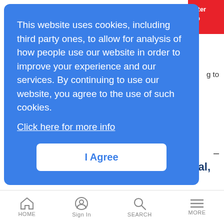[Figure (screenshot): Cookie consent modal overlay on a website. Blue rounded rectangle containing cookie usage notice text, a 'Click here for more info' link, and an 'I Agree' button. Behind the modal: partial red button top right, partial page text fragments, article headline and body text, and a bottom navigation bar.]
This website uses cookies, including third party ones, to allow for analysis of how people use our website in order to improve your experience and our services. By continuing to use our website, you agree to the use of such cookies.
Click here for more info
I Agree
AT&T Adds Blimps to FirstNet Arsenal, Passes 1M Connection Mark
News Analysis | 12/3/2019
AT&T said it now counts a whopping 1 million connections, just three years after scoring the FirstNet contract. And it's taking to the air with blimps to deliver connectivity.
HOME  Sign In  SEARCH  MORE